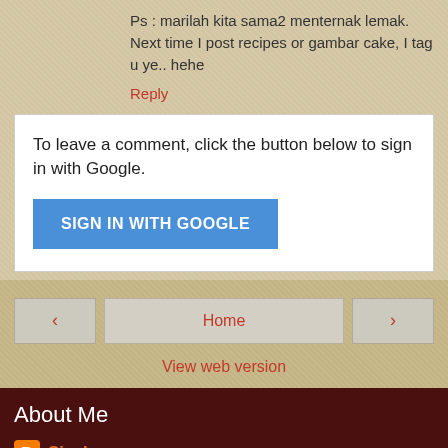Ps : marilah kita sama2 menternak lemak. Next time I post recipes or gambar cake, I tag u ye.. hehe
Reply
To leave a comment, click the button below to sign in with Google.
SIGN IN WITH GOOGLE
Home
View web version
About Me
Sizuka
View my complete profile
Powered by Blogger.